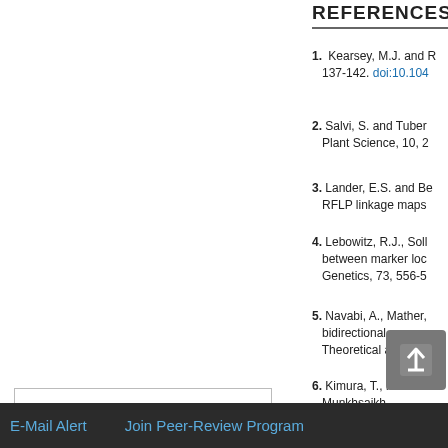REFERENCES
1. Kearsey, M.J. and R... 137-142. doi:10.104...
2. Salvi, S. and Tuber... Plant Science, 10, 2...
3. Lander, E.S. and Be... RFLP linkage maps...
4. Lebowitz, R.J., Soll... between marker loc... Genetics, 73, 556-5...
5. Navabi, A., Mather,... bidirectional... Theoretical a...
6. Kimura, T., K... Munkhsaikh... wide associ...
Top
ABSTRACT
INTRODUCTION
MATERIAL AND METHODS
RESULTS
DISCUSSION
E-Mail Alert    Join Peer-Review Program